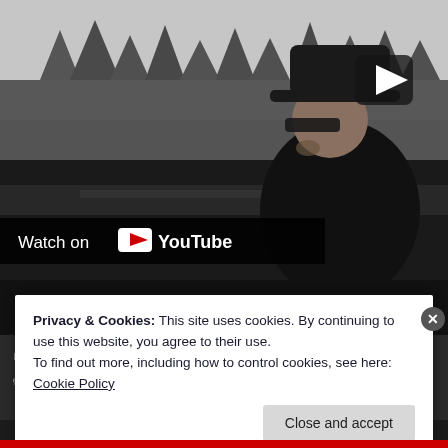[Figure (screenshot): YouTube video thumbnail showing a man in a black hat and glasses in profile against a winter landscape with trees and water. A play button is visible in the upper right. A 'Watch on YouTube' bar appears at the bottom left of the video.]
Posted in News, Sweet Oblivion
Tagged Another Change, Geoff Tate, New Song, new video, Relentless, Rock, Sweet Oblivion
Privacy & Cookies: This site uses cookies. By continuing to use this website, you agree to their use.
To find out more, including how to control cookies, see here: Cookie Policy